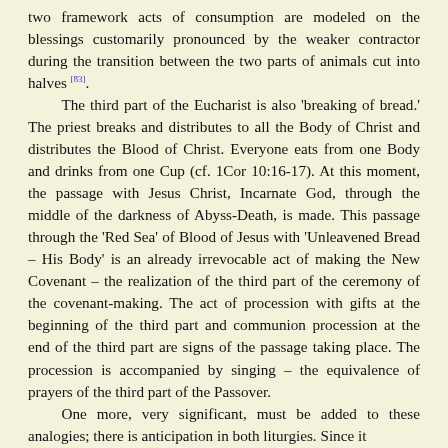two framework acts of consumption are modeled on the blessings customarily pronounced by the weaker contractor during the transition between the two parts of animals cut into halves [83]. The third part of the Eucharist is also 'breaking of bread.' The priest breaks and distributes to all the Body of Christ and distributes the Blood of Christ. Everyone eats from one Body and drinks from one Cup (cf. 1Cor 10:16-17). At this moment, the passage with Jesus Christ, Incarnate God, through the middle of the darkness of Abyss-Death, is made. This passage through the 'Red Sea' of Blood of Jesus with 'Unleavened Bread – His Body' is an already irrevocable act of making the New Covenant – the realization of the third part of the ceremony of the covenant-making. The act of procession with gifts at the beginning of the third part and communion procession at the end of the third part are signs of the passage taking place. The procession is accompanied by singing – the equivalence of prayers of the third part of the Passover. One more, very significant, must be added to these analogies; there is anticipation in both liturgies. Since it